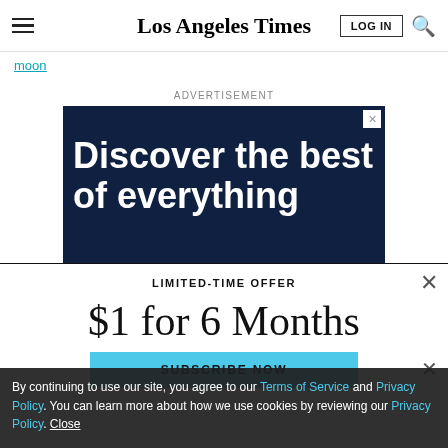Los Angeles Times — navigation bar with hamburger menu, LOG IN, and search icon
moon
ADVERTISEMENT
[Figure (other): Dark navy advertisement banner reading 'Discover the best of everything' with a close X button in the top right corner]
LIMITED-TIME OFFER
$1 for 6 Months
SUBSCRIBE NOW
By continuing to use our site, you agree to our Terms of Service and Privacy Policy. You can learn more about how we use cookies by reviewing our Privacy Policy. Close